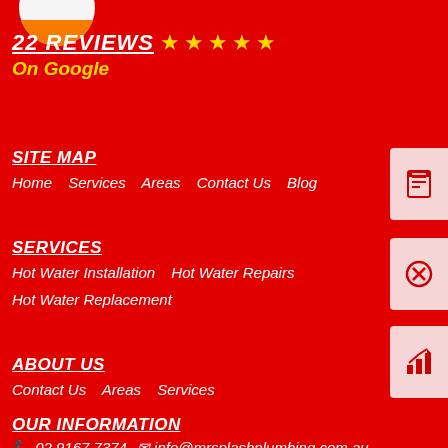[Figure (logo): Mr Splash Plumbing logo - half circle orange/white at top left]
22 REVIEWS ★★★★★
On Google
SITE MAP
Home   Services   Areas   Contact Us   Blog
SERVICES
Hot Water Installation   Hot Water Repairs   Hot Water Replacement
ABOUT US
Contact Us   Areas   Services
OUR INFORMATION
☎ 02 9167 7374   ✉ info@mrsplashplumbing.com.au